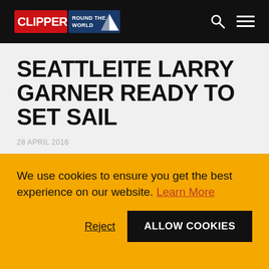Clipper Round the World
SEATTLEITE LARRY GARNER READY TO SET SAIL
28 APRIL 2016
As the fleet prepares to bid farewell to the city of Seattle, for local
We use cookies to ensure you get the best experience on our website. Learn More
Reject
ALLOW COOKIES